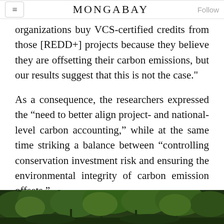MONGABAY
organizations buy VCS-certified credits from those [REDD+] projects because they believe they are offsetting their carbon emissions, but our results suggest that this is not the case."
As a consequence, the researchers expressed the “need to better align project- and national-level carbon accounting,” while at the same time striking a balance between “controlling conservation investment risk and ensuring the environmental integrity of carbon emission offsets."
[Figure (photo): Forest scene with trees and green foliage, bottom strip of the article page]